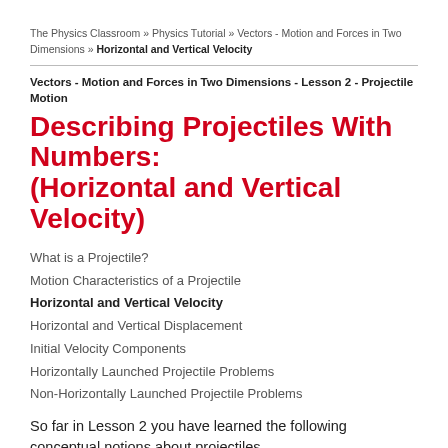The Physics Classroom » Physics Tutorial » Vectors - Motion and Forces in Two Dimensions » Horizontal and Vertical Velocity
Vectors - Motion and Forces in Two Dimensions - Lesson 2 - Projectile Motion
Describing Projectiles With Numbers: (Horizontal and Vertical Velocity)
What is a Projectile?
Motion Characteristics of a Projectile
Horizontal and Vertical Velocity
Horizontal and Vertical Displacement
Initial Velocity Components
Horizontally Launched Projectile Problems
Non-Horizontally Launched Projectile Problems
So far in Lesson 2 you have learned the following conceptual notions about projectiles.
A projectile is any object upon which the only force is gravity.